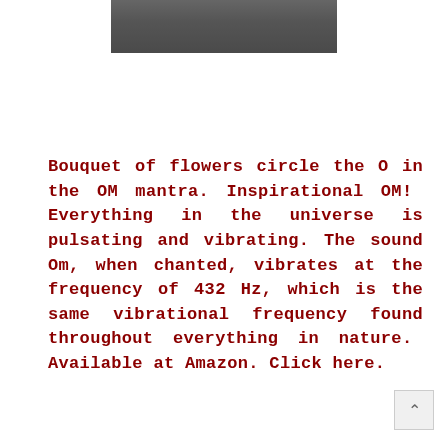[Figure (photo): Partial view of a dark gray/charcoal colored fabric or curtain, cropped at top of page]
Bouquet of flowers circle the O in the OM mantra. Inspirational OM!  Everything in the universe is pulsating and vibrating. The sound Om, when chanted, vibrates at the frequency of 432 Hz, which is the same vibrational frequency found throughout everything in nature.  Available at Amazon. Click here.